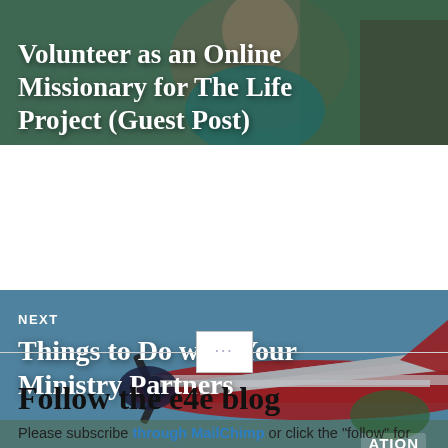[Figure (photo): Photo of a person with a teal top, overlaid with the title 'Volunteer as an Online Missionary for The Life Project (Guest Post)']
[Figure (photo): Photo of a red and white propeller aircraft on tarmac with blue sky, labeled NEXT with title 'Things to Do with Your Ministry Partners']
Follow the e4e blog
Please subscribe through MailChimp or click the "follow" for notifications through Wordpress.